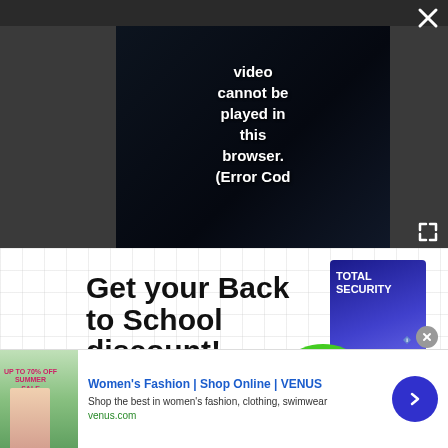[Figure (screenshot): Video player overlay showing error message: video cannot be played in this browser. (Error Cod with PLAY SOUND button and TechRadar logo]
[Figure (screenshot): Back to School discount advertisement for Total Security software showing -58% discount badge, BUY NOW button in pink/red]
[Figure (screenshot): Large gray placeholder advertisement area with grid pattern]
[Figure (screenshot): Bottom banner ad for Women's Fashion | Shop Online | VENUS with text: Shop the best in women's fashion, clothing, swimwear. venus.com]